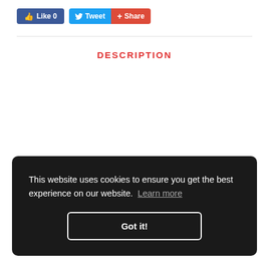[Figure (screenshot): Social media buttons: Facebook Like (0), Twitter Tweet, Google+ Share]
DESCRIPTION
This website uses cookies to ensure you get the best experience on our website. Learn more
Got it!